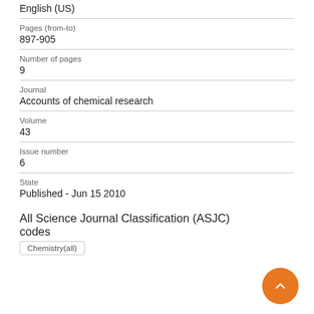English (US)
Pages (from-to)
897-905
Number of pages
9
Journal
Accounts of chemical research
Volume
43
Issue number
6
State
Published - Jun 15 2010
All Science Journal Classification (ASJC) codes
Chemistry(all)